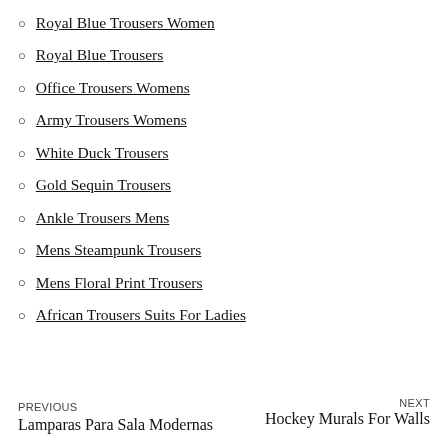Royal Blue Trousers Women
Royal Blue Trousers
Office Trousers Womens
Army Trousers Womens
White Duck Trousers
Gold Sequin Trousers
Ankle Trousers Mens
Mens Steampunk Trousers
Mens Floral Print Trousers
African Trousers Suits For Ladies
PREVIOUS Lamparas Para Sala Modernas | NEXT Hockey Murals For Walls